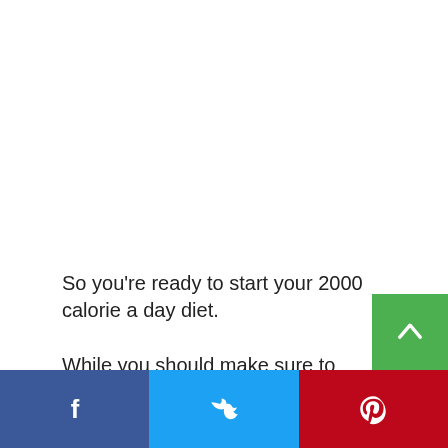So you're ready to start your 2000 calorie a day diet.
While you should make sure to check out the meal plans at the end of this article.
Here are a couple of quick tips to make sure that you are obtaining all the nutrients you need by eating hea…